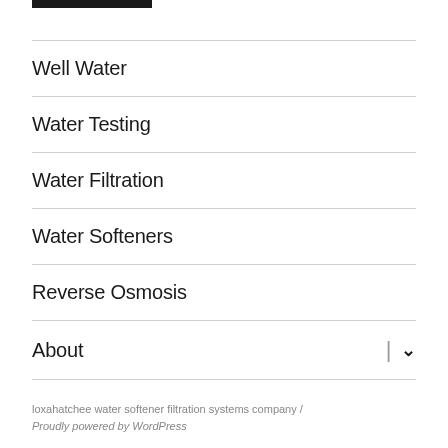Well Water
Water Testing
Water Filtration
Water Softeners
Reverse Osmosis
About
loxahatchee water softener filtration systems company / Proudly powered by WordPress